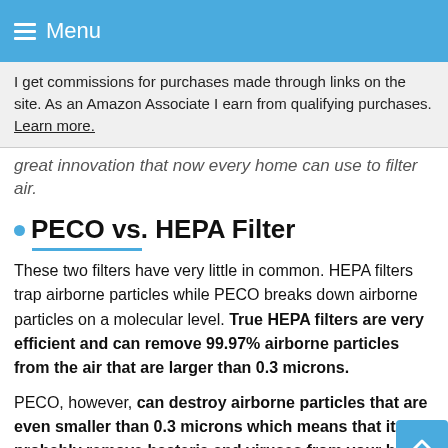Menu
I get commissions for purchases made through links on the site. As an Amazon Associate I earn from qualifying purchases. Learn more.
great innovation that now every home can use to filter air.
PECO vs. HEPA Filter
These two filters have very little in common. HEPA filters trap airborne particles while PECO breaks down airborne particles on a molecular level. True HEPA filters are very efficient and can remove 99.97% airborne particles from the air that are larger than 0.3 microns.
PECO, however, can destroy airborne particles that are even smaller than 0.3 microns which means that it can probably remove bacteria and viruses from your home.
I won't go down into a big debate about which technology is